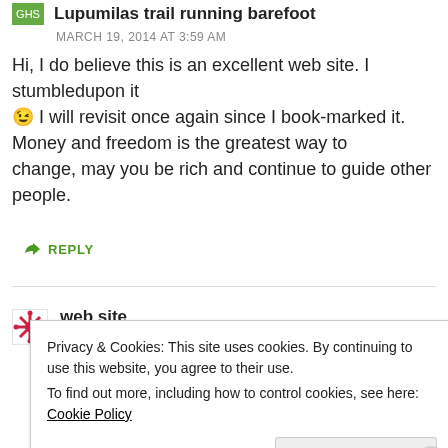Lupumilas trail running barefoot
MARCH 19, 2014 AT 3:59 AM
Hi, I do believe this is an excellent web site. I stumbledupon it 😉 I will revisit once again since I book-marked it. Money and freedom is the greatest way to change, may you be rich and continue to guide other people.
REPLY
web site
MARCH 21, 2014 AT 10:56 AM
Privacy & Cookies: This site uses cookies. By continuing to use this website, you agree to their use. To find out more, including how to control cookies, see here: Cookie Policy
Close and accept